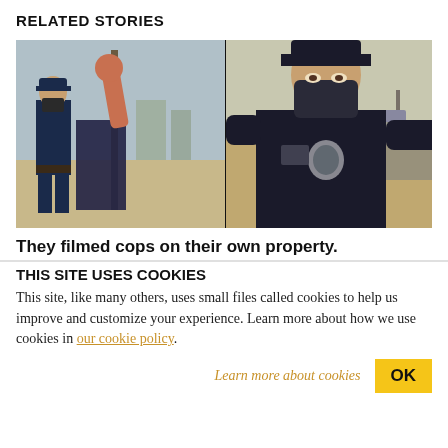RELATED STORIES
[Figure (photo): Two-panel photo: left panel shows a woman raising her arm/hand toward the camera with a police officer in full uniform standing behind her outdoors; right panel shows a close-up of a police officer wearing a face covering/balaclava and body armor, arm extended toward the camera, outdoors with a road and construction site in the background.]
They filmed cops on their own property.
THIS SITE USES COOKIES
This site, like many others, uses small files called cookies to help us improve and customize your experience. Learn more about how we use cookies in our cookie policy.
Learn more about cookies
OK